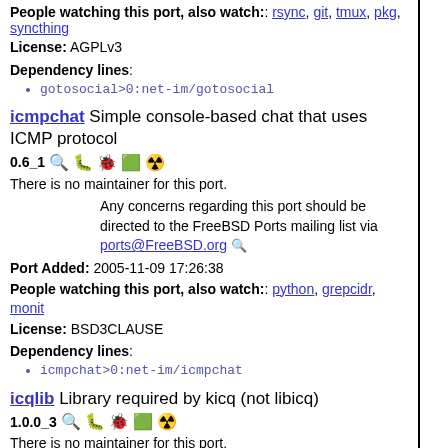People watching this port, also watch:: rsync, git, tmux, pkg, syncthing
License: AGPLv3
Dependency lines:
gotosocial>0:net-im/gotosocial
icmpchat Simple console-based chat that uses ICMP protocol
0.6_1
There is no maintainer for this port.
Any concerns regarding this port should be directed to the FreeBSD Ports mailing list via ports@FreeBSD.org
Port Added: 2005-11-09 17:26:38
People watching this port, also watch:: python, grepcidr, monit
License: BSD3CLAUSE
Dependency lines:
icmpchat>0:net-im/icmpchat
icqlib Library required by kicq (not libicq)
1.0.0_3
There is no maintainer for this port.
Any concerns regarding this port should be directed to the FreeBSD Ports mailing